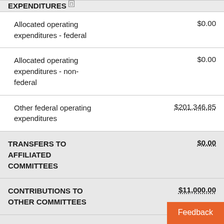| Category | Amount |
| --- | --- |
| EXPENDITURES |  |
| Allocated operating expenditures - federal | $0.00 |
| Allocated operating expenditures - non-federal | $0.00 |
| Other federal operating expenditures | $201,346.85 |
| TRANSFERS TO AFFILIATED COMMITTEES | $0.00 |
| CONTRIBUTIONS TO OTHER COMMITTEES | $11,000.00 |
| INDEPENDENT EXPENDITURES | $0.00 |